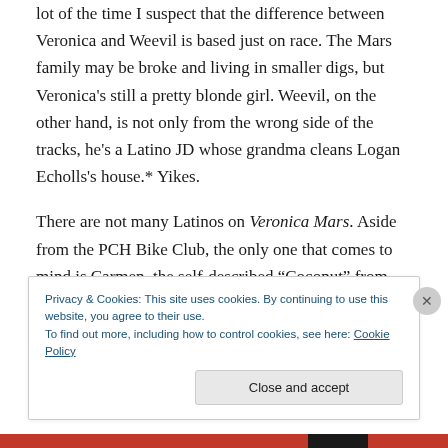lot of the time I suspect that the difference between Veronica and Weevil is based just on race. The Mars family may be broke and living in smaller digs, but Veronica's still a pretty blonde girl. Weevil, on the other hand, is not only from the wrong side of the tracks, he's a Latino JD whose grandma cleans Logan Echolls's house.* Yikes.
There are not many Latinos on Veronica Mars. Aside from the PCH Bike Club, the only one that comes to mind is Carmen, the self-described “Coconut” from season two. That said, in terms of the border, on the show Latinos
Privacy & Cookies: This site uses cookies. By continuing to use this website, you agree to their use.
To find out more, including how to control cookies, see here: Cookie Policy